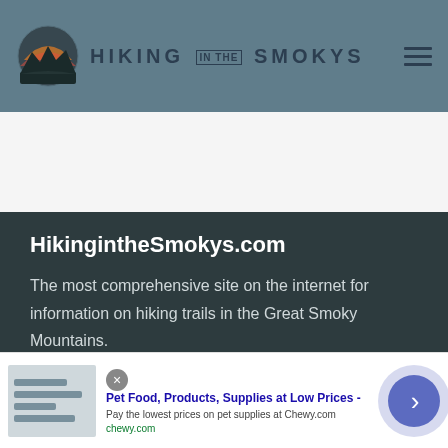[Figure (logo): Hiking in the Smokys logo with mountain/sunset icon and site name text]
[Figure (other): White/light gray empty content area]
HikingintheSmokys.com
The most comprehensive site on the internet for information on hiking trails in the Great Smoky Mountains.
[Figure (other): Advertisement banner: Pet Food, Products, Supplies at Low Prices - chewy.com. Pay the lowest prices on pet supplies at Chewy.com]